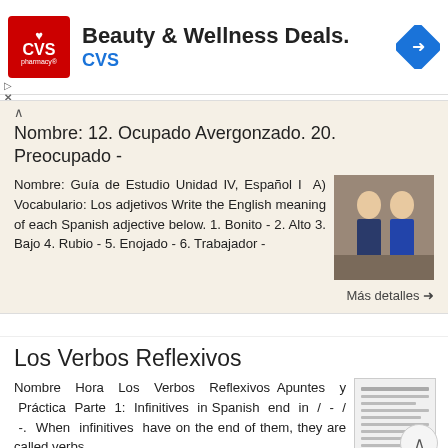[Figure (infographic): CVS Pharmacy ad banner with logo, 'Beauty & Wellness Deals' title, CVS subtitle, and navigation arrow icon]
Nombre: 12. Ocupado Avergonzado. 20. Preocupado -
Nombre: Guía de Estudio Unidad IV, Español I A) Vocabulario: Los adjetivos Write the English meaning of each Spanish adjective below. 1. Bonito - 2. Alto 3. Bajo 4. Rubio - 5. Enojado - 6. Trabajador -
[Figure (photo): Photo of a man and woman in formal attire]
Más detalles →
Los Verbos Reflexivos
Nombre Hora Los Verbos Reflexivos Apuntes y Práctica Parte 1: Infinitives in Spanish end in / - / -. When infinitives have on the end of them, they are called verbs.
[Figure (screenshot): Thumbnail of a document about Los Verbos Reflexivos]